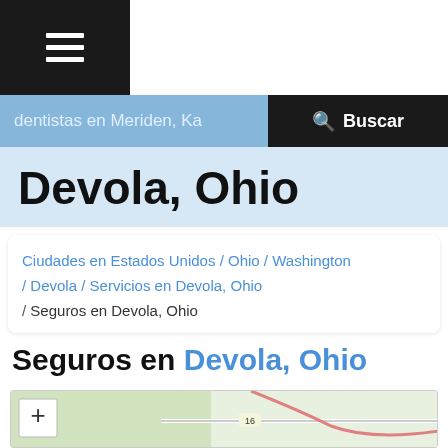[Figure (screenshot): Mobile app hamburger menu icon (three horizontal white lines on dark background)]
dentistas en Meriden, Ka
Buscar
Devola, Ohio
Ciudades en Estados Unidos / Ohio / Washington / Devola / Servicios en Devola, Ohio / Seguros en Devola, Ohio
Seguros en Devola, Ohio
[Figure (map): Map showing Devola, Ohio area with a + zoom button in upper left corner, roads and terrain visible]